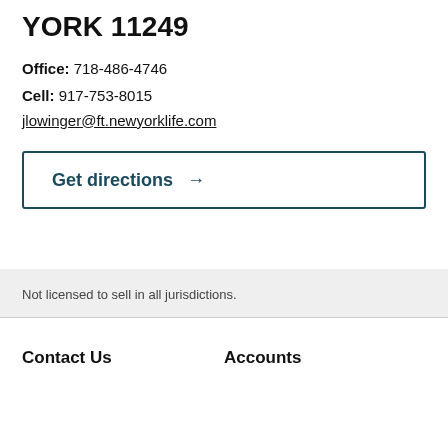YORK 11249
Office: 718-486-4746
Cell: 917-753-8015
jlowinger@ft.newyorklife.com
Get directions →
Not licensed to sell in all jurisdictions.
Contact Us
Accounts